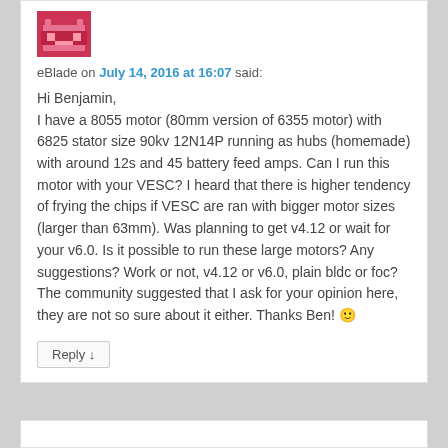[Figure (illustration): Pixelated avatar icon in red/pink color, resembling a simple face or character]
eBlade on July 14, 2016 at 16:07 said:
Hi Benjamin,
I have a 8055 motor (80mm version of 6355 motor) with 6825 stator size 90kv 12N14P running as hubs (homemade) with around 12s and 45 battery feed amps. Can I run this motor with your VESC? I heard that there is higher tendency of frying the chips if VESC are ran with bigger motor sizes (larger than 63mm). Was planning to get v4.12 or wait for your v6.0. Is it possible to run these large motors? Any suggestions? Work or not, v4.12 or v6.0, plain bldc or foc? The community suggested that I ask for your opinion here, they are not so sure about it either. Thanks Ben! 🙂
Reply ↓